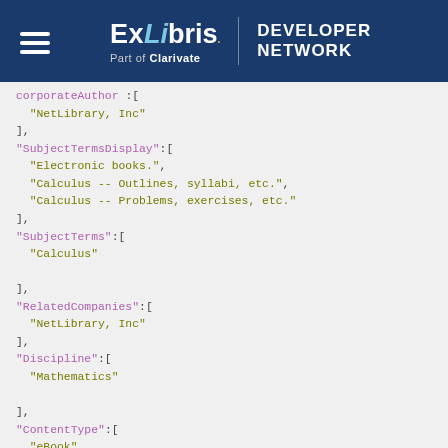[Figure (logo): ExLibris Part of Clarivate Developer Network header logo on dark blue background]
corporateAuthor :[
  "NetLibrary, Inc"
],
"SubjectTermsDisplay":[
  "Electronic books.",
  "Calculus -- Outlines, syllabi, etc.",
  "Calculus -- Problems, exercises, etc."
],
"SubjectTerms":[
  "Calculus"
],
"RelatedCompanies":[
  "NetLibrary, Inc"
],
"Discipline":[
  "Mathematics"
],
"ContentType":[
  "eBook"
],
"SourceType":[